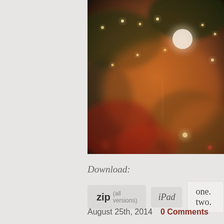[Figure (photo): Blurry bokeh photo of Christmas tree lights with warm orange and red tones, showing out-of-focus ornaments and fairy lights against a dark background]
Download:
zip (all versions)   iPad   one.  two.
August 25th, 2014   0 Comments